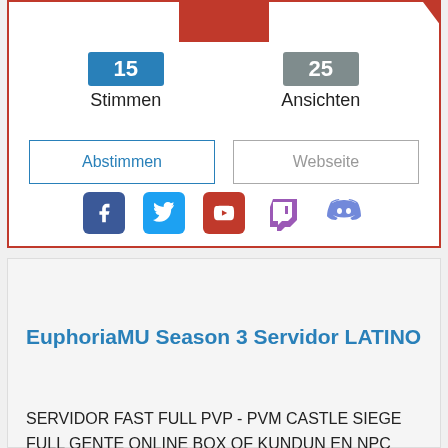[Figure (screenshot): Top card section with vote count badge 15 (blue), views count badge 25 (gray), Abstimmen button, Webseite button, and social media icons (Facebook, Twitter, YouTube, Twitch, Discord)]
15
Stimmen
25
Ansichten
Abstimmen
Webseite
EuphoriaMU Season 3 Servidor LATINO
SERVIDOR FAST FULL PVP - PVM CASTLE SIEGE FULL GENTE ONLINE BOX OF KUNDUN EN NPC DROP SEMI FULL ITEMS SERVIDOR ACTIVO COMUNIDAD DISCORD -